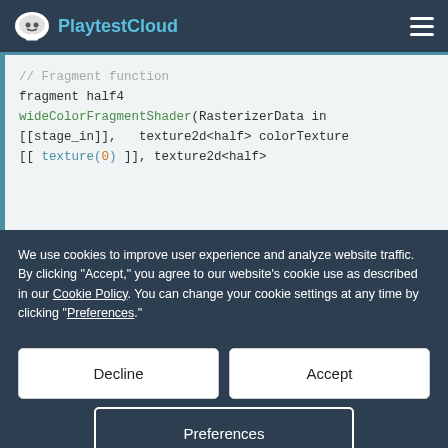PlaytestCloud
[Figure (screenshot): Code block showing Metal shader code fragment function wideColorFragmentShader with syntax highlighting on dark-light background]
We use cookies to improve user experience and analyze website traffic. By clicking "Accept," you agree to our website's cookie use as described in our Cookie Policy. You can change your cookie settings at any time by clicking "Preferences."
Decline
Accept
Preferences